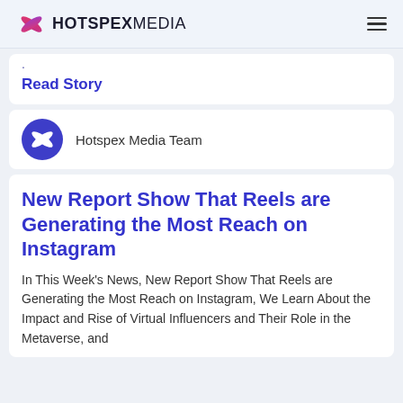HOTSPEXMEDIA
Read Story
Hotspex Media Team
New Report Show That Reels are Generating the Most Reach on Instagram
In This Week's News, New Report Show That Reels are Generating the Most Reach on Instagram, We Learn About the Impact and Rise of Virtual Influencers and Their Role in the Metaverse, and